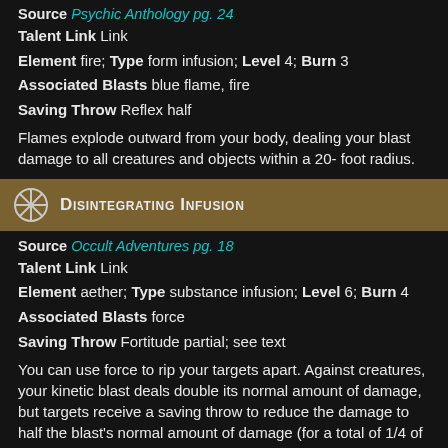Source Psychic Anthology pg. 24
Talent Link Link
Element fire; Type form infusion; Level 4; Burn 3
Associated Blasts blue flame, fire
Saving Throw Reflex half
Flames explode outward from your body, dealing your blast damage to all creatures and objects within a 20- foot radius.
Disintegrating Infusion
Source Occult Adventures pg. 18
Talent Link Link
Element aether; Type substance infusion; Level 6; Burn 4
Associated Blasts force
Saving Throw Fortitude partial; see text
You can use force to rip your targets apart. Against creatures, your kinetic blast deals double its normal amount of damage, but targets receive a saving throw to reduce the damage to half the blast's normal amount of damage (for a total of 1/4 of the blast's increased damage). Any creature reduced to 0 or fewer